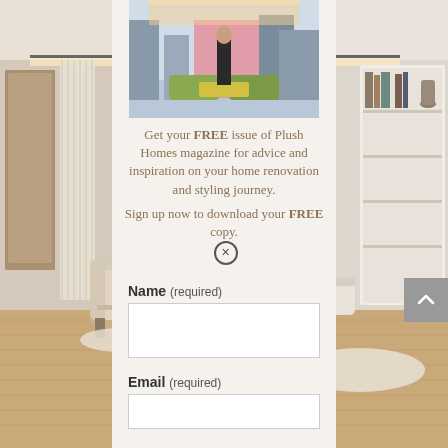[Figure (photo): Interior room photo on the left side showing a modern living room with light wood floors, white furniture, and floor-to-ceiling curtains]
[Figure (photo): Interior room photo on the right side showing a modern bedroom/living space with built-in shelves and a floor lamp]
[Figure (photo): Magazine cover photo at top of modal showing a woman standing in a stylish modern interior with green sofas and pink accent wall]
Get your FREE issue of Plush Homes magazine for advice and inspiration on your home renovation and styling journey.
Sign up now to download your FREE copy.
Name (required)
Email (required)